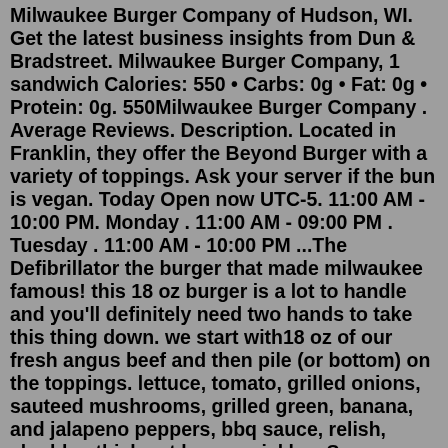Milwaukee Burger Company of Hudson, WI. Get the latest business insights from Dun & Bradstreet. Milwaukee Burger Company, 1 sandwich Calories: 550 • Carbs: 0g • Fat: 0g • Protein: 0g. 550Milwaukee Burger Company . Average Reviews. Description. Located in Franklin, they offer the Beyond Burger with a variety of toppings. Ask your server if the bun is vegan. Today Open now UTC-5. 11:00 AM - 10:00 PM. Monday . 11:00 AM - 09:00 PM . Tuesday . 11:00 AM - 10:00 PM ...The Defibrillator the burger that made milwaukee famous! this 18 oz burger is a lot to handle and you'll definitely need two hands to take this thing down. we start with18 oz of our fresh angus beef and then pile (or bottom) on the toppings. lettuce, tomato, grilled onions, sauteed mushrooms, grilled green, banana, and jalapeno peppers, bbq sauce, relish, cheddar, thick cut bacon, pickle ...So our burgers and curds are always super-si. This site uses cookies to provide you with the best onsite experience. Read our privacy policy to learn more. Accept. Skip to main content. Order Guides; Newsletter Sign-Up;